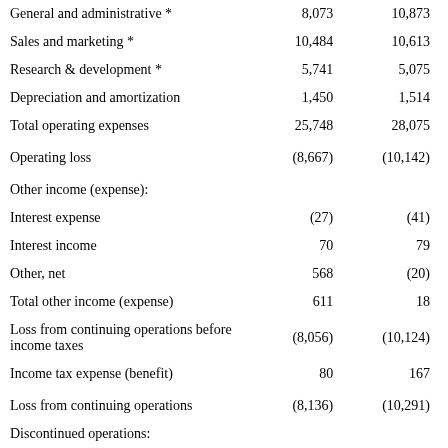|  | Col1 | Col2 |
| --- | --- | --- |
| General and administrative * | 8,073 | 10,873 |
| Sales and marketing * | 10,484 | 10,613 |
| Research & development * | 5,741 | 5,075 |
| Depreciation and amortization | 1,450 | 1,514 |
| Total operating expenses | 25,748 | 28,075 |
| Operating loss | (8,667) | (10,142) |
| Other income (expense): |  |  |
| Interest expense | (27) | (41) |
| Interest income | 70 | 79 |
| Other, net | 568 | (20) |
| Total other income (expense) | 611 | 18 |
| Loss from continuing operations before income taxes | (8,056) | (10,124) |
| Income tax expense (benefit) | 80 | 167 |
| Loss from continuing operations | (8,136) | (10,291) |
| Discontinued operations: |  |  |
| Loss from discontinued operations, net of income taxes | — | (1,943) |